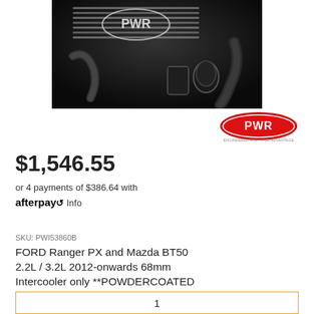[Figure (photo): Black and white product photo of a PWR intercooler kit with hoses, clamps, and fittings on a dark background. PWR logo visible on the intercooler core.]
[Figure (logo): PWR brand logo in red and white oval shape with text 'ENGINEERED FOR YOUR ADVANTAGE' below]
$1,546.55
or 4 payments of $386.64 with afterpay Info
SKU: PWI53860B
FORD Ranger PX and Mazda BT50 2.2L / 3.2L 2012-onwards 68mm Intercooler only **POWDERCOATED
1